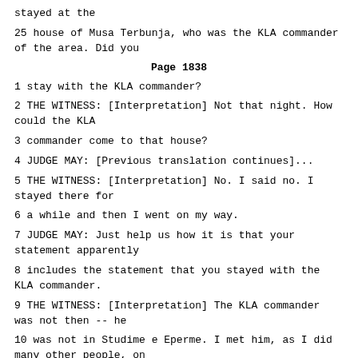stayed at the
25 house of Musa Terbunja, who was the KLA commander of the area. Did you
Page 1838
1 stay with the KLA commander?
2 THE WITNESS: [Interpretation] Not that night. How could the KLA
3 commander come to that house?
4 JUDGE MAY: [Previous translation continues]...
5 THE WITNESS: [Interpretation] No. I said no. I stayed there for
6 a while and then I went on my way.
7 JUDGE MAY: Just help us how it is that your statement apparently
8 includes the statement that you stayed with the KLA commander.
9 THE WITNESS: [Interpretation] The KLA commander was not then -- he
10 was not in Studime e Eperme. I met him, as I did many other people, on